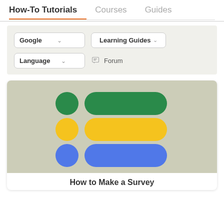How-To Tutorials | Courses | Guides
[Figure (screenshot): Navigation bar with How-To Tutorials (active, orange underline), Courses, and Guides tabs, followed by a filter bar with Google dropdown, Learning Guides dropdown, Language dropdown, and Forum link. Below is a card with a gray-green background showing three rows each with a circle and pill shape in green, yellow, and blue colors.]
How to Make a Survey